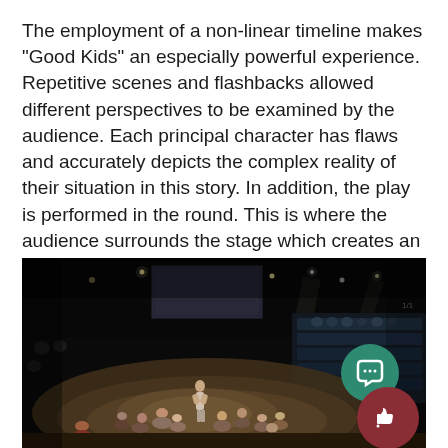The employment of a non-linear timeline makes "Good Kids" an especially powerful experience. Repetitive scenes and flashbacks allowed different perspectives to be examined by the audience. Each principal character has flaws and accurately depicts the complex reality of their situation in this story. In addition, the play is performed in the round. This is where the audience surrounds the stage which creates an intimate and visceral experience.
[Figure (photo): Dark theatrical stage photograph showing actors performing in the round. A central performer stands while others sit on the stage floor in a circle. Audience members visible in tiered seating on the right. Stage lighting visible overhead. Two UI icon buttons overlay the bottom right: a teal speech bubble icon and a dark red thumbs-up icon.]